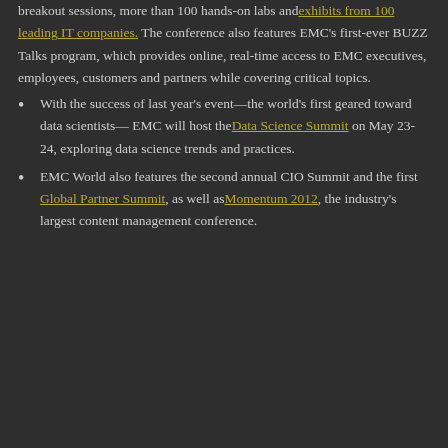breakout sessions, more than 100 hands-on labs and exhibits from 100 leading IT companies. The conference also features EMC’s first-ever BUZZ Talks program, which provides online, real-time access to EMC executives, employees, customers and partners while covering critical topics.
With the success of last year’s event—the world’s first geared toward data scientists— EMC will host the Data Science Summit on May 23-24, exploring data science trends and practices.
EMC World also features the second annual CIO Summit and the first Global Partner Summit, as well as Momentum 2012, the industry’s largest content management conference.